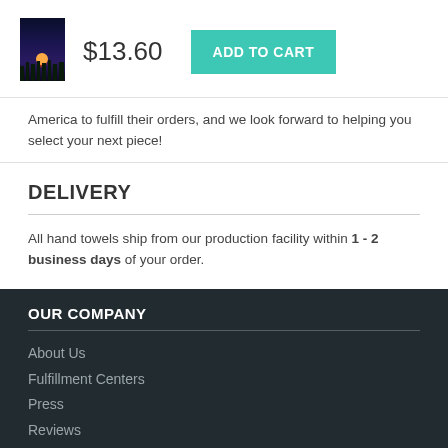[Figure (photo): Small product image of a hand towel with a dark blue/orange sunset or fire forest scene]
$13.60
ADD TO CART
America to fulfill their orders, and we look forward to helping you select your next piece!
DELIVERY
All hand towels ship from our production facility within 1 - 2 business days of your order.
OUR COMPANY
About Us
Fulfillment Centers
Press
Reviews
Blog